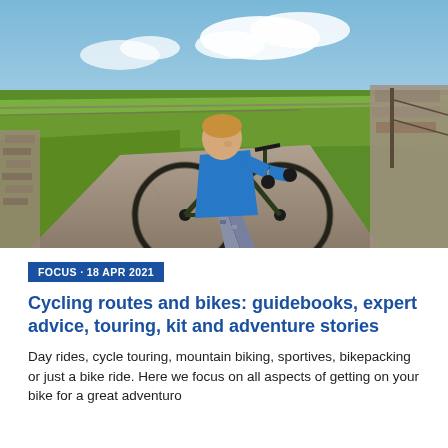[Figure (photo): A cyclist wearing a blue jacket and patterned leggings rides a gravel/adventure bike along a rural stony track. Stone walls line both sides of the path. Green fields and a partly cloudy sky are visible in the background.]
FOCUS · 18 APR 2021
Cycling routes and bikes: guidebooks, expert advice, touring, kit and adventure stories
Day rides, cycle touring, mountain biking, sportives, bikepacking or just a bike ride. Here we focus on all aspects of getting on your bike for a great adventure